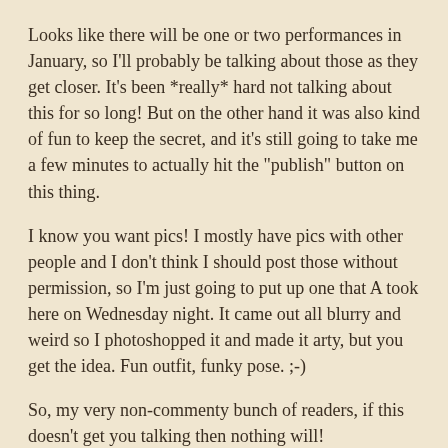Looks like there will be one or two performances in January, so I'll probably be talking about those as they get closer. It's been *really* hard not talking about this for so long! But on the other hand it was also kind of fun to keep the secret, and it's still going to take me a few minutes to actually hit the "publish" button on this thing.
I know you want pics! I mostly have pics with other people and I don't think I should post those without permission, so I'm just going to put up one that A took here on Wednesday night. It came out all blurry and weird so I photoshopped it and made it arty, but you get the idea. Fun outfit, funky pose. ;-)
So, my very non-commenty bunch of readers, if this doesn't get you talking then nothing will!
[Figure (photo): A photoshopped/arty photo showing a Christmas tree with lights, a red-framed picture on the left wall, a bookshelf on the right, against a dark blue-purple background wall.]